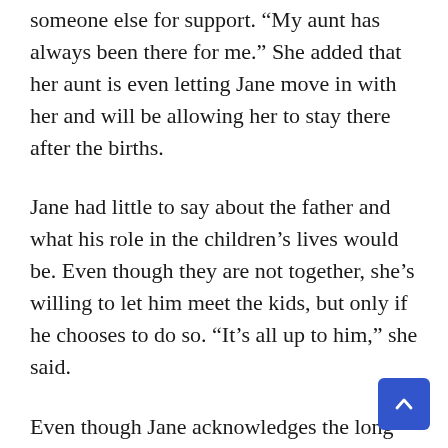someone else for support. “My aunt has always been there for me.” She added that her aunt is even letting Jane move in with her and will be allowing her to stay there after the births.
Jane had little to say about the father and what his role in the children’s lives would be. Even though they are not together, she’s willing to let him meet the kids, but only if he chooses to do so. “It’s all up to him,” she said.
Even though Jane acknowledges the long road ahead of her, she’s still